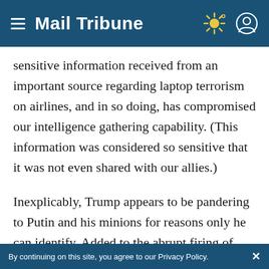Mail Tribune
sensitive information received from an important source regarding laptop terrorism on airlines, and in so doing, has compromised our intelligence gathering capability. (This information was considered so sensitive that it was not even shared with our allies.)
Inexplicably, Trump appears to be pandering to Putin and his minions for reasons only he can identify. Added to the abrupt firing of FBI Director James Comey (recalling Nixon's
By continuing on this site, you agree to our Privacy Policy.